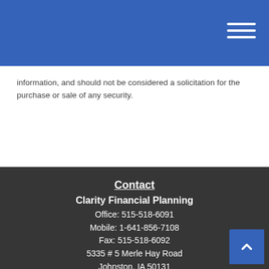Clarity Financial Planning - navigation header with hamburger menu
information, and should not be considered a solicitation for the purchase or sale of any security.
Contact
Clarity Financial Planning
Office: 515-518-6091
Mobile: 1-641-856-7108
Fax: 515-518-6092
5335 # 5 Merle Hay Road
Johnston, IA 50131
Send an Email
[Figure (infographic): Social media icons: Facebook, Twitter, LinkedIn]
Quick Links
Retirement
Investment